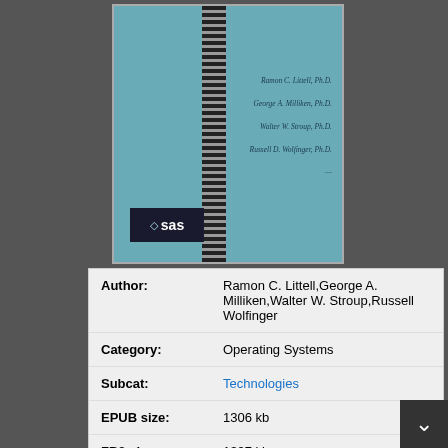[Figure (photo): Book cover with teal/blue background, vertical spine stripe with checkered pattern, SAS logo in bottom left, and author names listed on the right side in italic text]
| Author: | Ramon C. Littell,George A. Milliken,Walter W. Stroup,Russell Wolfinger |
| Category: | Operating Systems |
| Subcat: | Technologies |
| EPUB size: | 1306 kb |
| FB2 size: | 1397 kb |